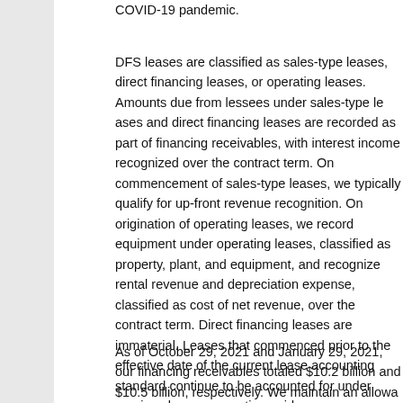COVID-19 pandemic.
DFS leases are classified as sales-type leases, direct financing leases, or operating leases. Amounts due from lessees under sales-type leases and direct financing leases are recorded as part of financing receivables, with interest income recognized over the contract term. On commencement of sales-type leases, we typically qualify for up-front revenue recognition. On origination of operating leases, we record equipment under operating leases, classified as property, plant, and equipment, and recognize rental revenue and depreciation expense, classified as cost of net revenue, over the contract term. Direct financing leases are immaterial. Leases that commenced prior to the effective date of the current lease accounting standard continue to be accounted for under previous lease accounting guidance.
As of October 29, 2021 and January 29, 2021, our financing receivables totaled $10.2 billion and $10.5 billion, respectively. We maintain an allowance for expected financing receivable credit losses and evaluate credit loss reserve expectations based on our total portfolio. Our allowance for expected credit losses in future periods may vary from our current estimates. For